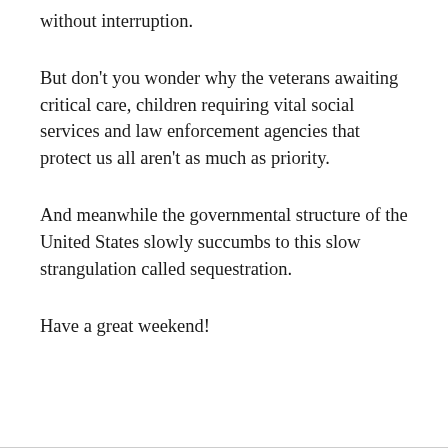without interruption.
But don't you wonder why the veterans awaiting critical care, children requiring vital social services and law enforcement agencies that protect us all aren't as much as priority.
And meanwhile the governmental structure of the United States slowly succumbs to this slow strangulation called sequestration.
Have a great weekend!